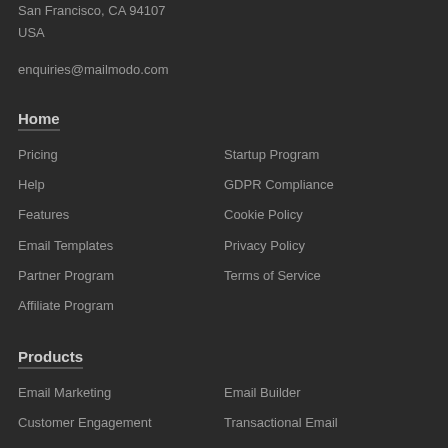San Francisco, CA 94107
USA
enquiries@mailmodo.com
Home
Pricing
Startup Program
Help
GDPR Compliance
Features
Cookie Policy
Email Templates
Privacy Policy
Partner Program
Terms of Service
Affiliate Program
Products
Email Marketing
Email Builder
Customer Engagement
Transactional Email